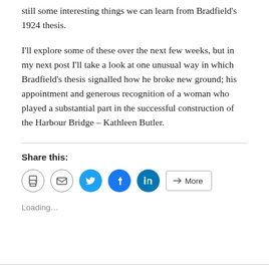still some interesting things we can learn from Bradfield's 1924 thesis.
I'll explore some of these over the next few weeks, but in my next post I'll take a look at one unusual way in which Bradfield's thesis signalled how he broke new ground; his appointment and generous recognition of a woman who played a substantial part in the successful construction of the Harbour Bridge – Kathleen Butler.
[Figure (infographic): Social sharing buttons: print (circle outline), email (circle outline), Twitter (cyan circle), Facebook (blue circle), LinkedIn (blue circle), and a 'More' button with a share icon.]
Loading...